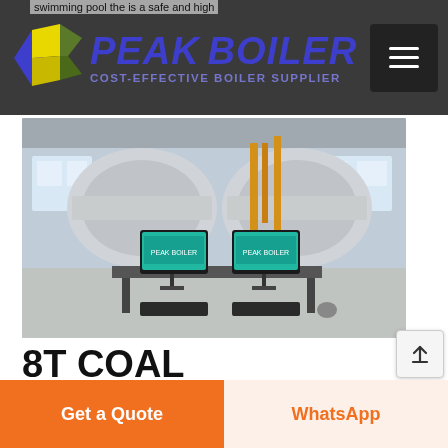swimming pool the is a safe and high
[Figure (logo): Peak Boiler logo with yellow/green diamond shape and blue italic text reading PEAK BOILER, subtitle COST-EFFECTIVE BOILER SUPPLIER]
[Figure (photo): Industrial boiler facility with two large cylindrical boilers and two computer monitors on a desk in foreground]
8T COAL ATMOSPHERIC PRESSURE BOILER
[Figure (other): Get a Quote orange button and WhatsApp button side by side]